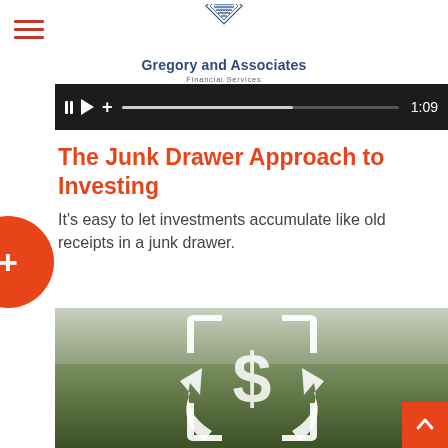[Figure (logo): Gregory and Associates Financial Services logo with diamond/chevron stacked graphic above text]
[Figure (screenshot): Video player bar showing pause, play, plus controls, a progress bar at about 60%, and timestamp 1:09]
The Junk Drawer Approach to Investing
It's easy to let investments accumulate like old receipts in a junk drawer.
[Figure (photo): Older man sitting on a grassy hillside next to a bicycle, with a large white dollar-sign icon overlay with bracket/recycle arrow graphics]